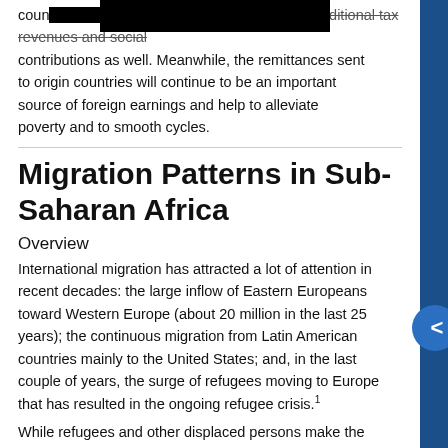countries experience. and bring additional tax revenues and social contributions as well. Meanwhile, the remittances sent to origin countries will continue to be an important source of foreign earnings and help to alleviate poverty and to smooth cycles.
Migration Patterns in Sub-Saharan Africa
Overview
International migration has attracted a lot of attention in recent decades: the large inflow of Eastern Europeans toward Western Europe (about 20 million in the last 25 years); the continuous migration from Latin American countries mainly to the United States; and, in the last couple of years, the surge of refugees moving to Europe that has resulted in the ongoing refugee crisis.1
While refugees and other displaced persons make the headlines, for sub-Saharan Africa there are in fact far